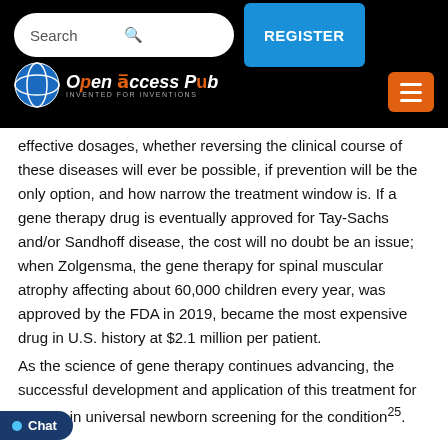Open Access Pub — Search / Register navigation bar
effective dosages, whether reversing the clinical course of these diseases will ever be possible, if prevention will be the only option, and how narrow the treatment window is. If a gene therapy drug is eventually approved for Tay-Sachs and/or Sandhoff disease, the cost will no doubt be an issue; when Zolgensma, the gene therapy for spinal muscular atrophy affecting about 60,000 children every year, was approved by the FDA in 2019, became the most expensive drug in U.S. history at $2.1 million per patient.
As the science of gene therapy continues advancing, the successful development and application of this treatment for [and] may lie in universal newborn screening for the condition25.